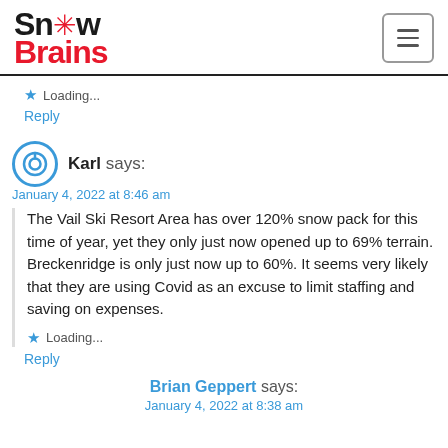SnowBrains
Loading...
Reply
Karl says:
January 4, 2022 at 8:46 am
The Vail Ski Resort Area has over 120% snow pack for this time of year, yet they only just now opened up to 69% terrain. Breckenridge is only just now up to 60%. It seems very likely that they are using Covid as an excuse to limit staffing and saving on expenses.
Loading...
Reply
Brian Geppert says:
January 4, 2022 at 8:38 am